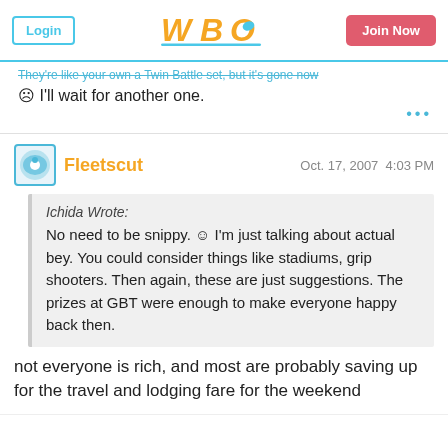Login | WBO Logo | Join Now
They're like your own a Twin Battle set, but it's gone now ☹ I'll wait for another one.
Fleetscut  Oct. 17, 2007  4:03 PM
Ichida Wrote: No need to be snippy. ☺ I'm just talking about actual bey. You could consider things like stadiums, grip shooters. Then again, these are just suggestions. The prizes at GBT were enough to make everyone happy back then.
not everyone is rich, and most are probably saving up for the travel and lodging fare for the weekend